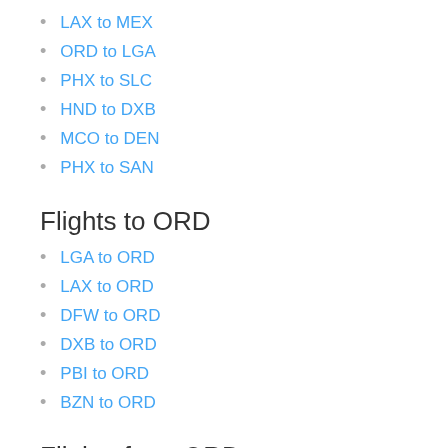LAX to MEX
ORD to LGA
PHX to SLC
HND to DXB
MCO to DEN
PHX to SAN
Flights to ORD
LGA to ORD
LAX to ORD
DFW to ORD
DXB to ORD
PBI to ORD
BZN to ORD
Flights from ORD